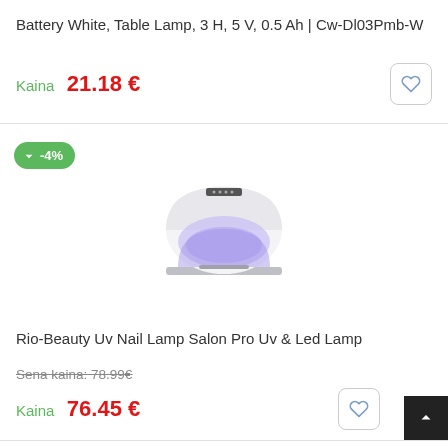Battery White, Table Lamp, 3 H, 5 V, 0.5 Ah | Cw-Dl03Pmb-W
Kaina  21.18 €
[Figure (illustration): UV nail lamp salon pro device, dome-shaped white and purple lamp]
Rio-Beauty Uv Nail Lamp Salon Pro Uv & Led Lamp
Sena kaina: 78.99€
Kaina  76.45 €